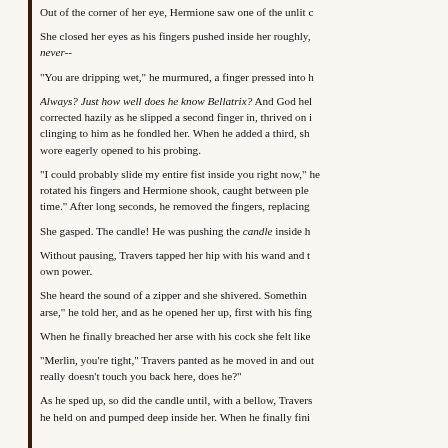Out of the corner of her eye, Hermione saw one of the unlit c
She closed her eyes as his fingers pushed inside her roughly, never--
"You are dripping wet," he murmured, a finger pressed into h
Always? Just how well does he know Bellatrix? And God hel corrected hazily as he slipped a second finger in, thrived on clinging to him as he fondled her. When he added a third, sh wore eagerly opened to his probing.
"I could probably slide my entire fist inside you right now," he rotated his fingers and Hermione shook, caught between ple time." After long seconds, he removed the fingers, replacing
She gasped. The candle! He was pushing the candle inside h
Without pausing, Travers tapped her hip with his wand and t own power.
She heard the sound of a zipper and she shivered. Somethin arse," he told her, and as he opened her up, first with his fing
When he finally breached her arse with his cock she felt like
"Merlin, you're tight," Travers panted as he moved in and out really doesn't touch you back here, does he?"
As he sped up, so did the candle until, with a bellow, Travers he held on and pumped deep inside her. When he finally fini